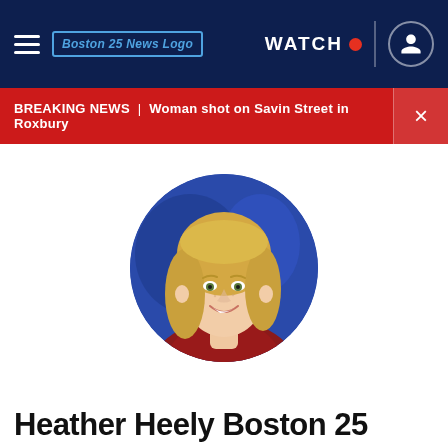Boston 25 News — WATCH LIVE
BREAKING NEWS | Woman shot on Savin Street in Roxbury
[Figure (photo): Circular headshot portrait of a blonde woman smiling, wearing a dark red top, set against a blue broadcast studio background.]
Heather Heely — Boston 25